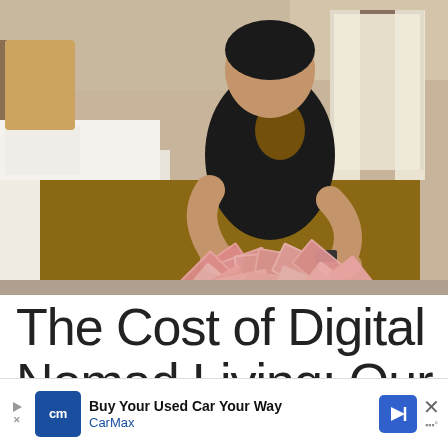[Figure (photo): A person in a black t-shirt sitting on a hotel bed, arranging Indonesian rupiah banknotes spread out in a fan pattern on a brown and gold patterned bedspread. A window with curtains is visible in the background.]
The Cost of Digital Nomad Living: Our
[Figure (other): Advertisement banner for CarMax: 'Buy Your Used Car Your Way' with CarMax logo in blue, a navigation arrow icon, a close X button, and a weather icon.]